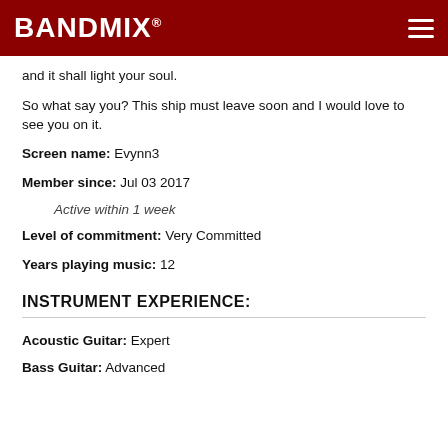BANDMIX®
and it shall light your soul.
So what say you? This ship must leave soon and I would love to see you on it.
Screen name:  Evynn3
Member since:  Jul 03 2017
Active within 1 week
Level of commitment:  Very Committed
Years playing music:  12
INSTRUMENT EXPERIENCE:
Acoustic Guitar:  Expert
Bass Guitar:  Advanced